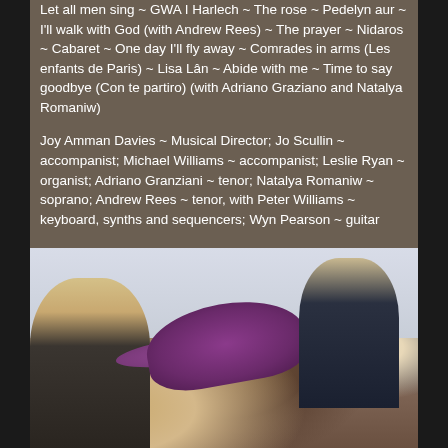Let all men sing ~ GWA I Harlech ~ The rose ~ Pedelyn aur ~ I'll walk with God (with Andrew Rees) ~ The prayer ~ Nidaros ~ Cabaret ~ One day I'll fly away ~ Comrades in arms (Les enfants de Paris) ~ Lisa Lân ~ Abide with me ~ Time to say goodbye (Con te partiro) (with Adriano Graziano and Natalya Romaniw)
Joy Amman Davies ~ Musical Director; Jo Scullin ~ accompanist; Michael Williams ~ accompanist; Leslie Ryan ~ organist; Adriano Granziani ~ tenor; Natalya Romaniw ~ soprano; Andrew Rees ~ tenor, with Peter Williams ~ keyboard, synths and sequencers; Wyn Pearson ~ guitar
Producer: Peter Williams
[Figure (photo): A photograph showing several people at what appears to be a formal event. A person wearing a large purple/violet hat is prominent in the center-foreground. A blonde woman is visible to the left, and other figures including a man in a suit are visible to the right.]